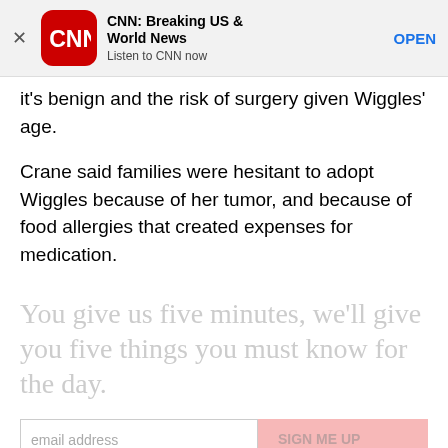[Figure (screenshot): CNN app banner with red rounded-square logo, title 'CNN: Breaking US & World News', subtitle 'Listen to CNN now', and OPEN button]
it's benign and the risk of surgery given Wiggles' age.
Crane said families were hesitant to adopt Wiggles because of her tumor, and because of food allergies that created expenses for medication.
You give us five minutes, we'll give you five things you must know for the day.
By subscribing you agree to our privacy policy